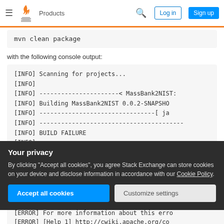≡  [Stack Overflow logo]  Products  🔍  Log in  Sign up
mvn clean package
with the following console output:
[INFO] Scanning for projects...
[INFO]
[INFO] ----------------------< MassBank2NIST:
[INFO] Building MassBank2NIST 0.0.2-SNAPSHO
[INFO] --------------------------------[ ja
[INFO] ----------------------------------------
[INFO] BUILD FAILURE
[INFO] ----------------------------------------
[INFO] Total time:  0.450 s
Your privacy
By clicking "Accept all cookies", you agree Stack Exchange can store cookies on your device and disclose information in accordance with our Cookie Policy.
Accept all cookies  Customize settings
[ERROR] For more information about this erro
[ERROR] [Help 1] http://cwiki.apache.org/co